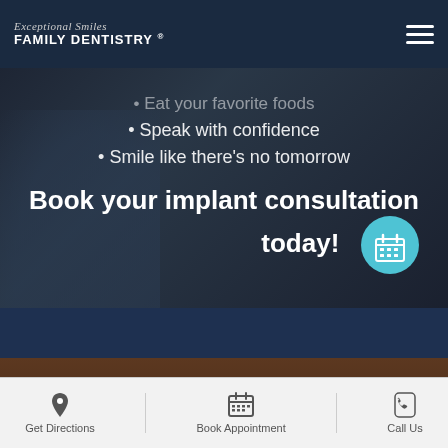Exceptional Smiles FAMILY DENTISTRY
Eat your favorite foods
Speak with confidence
Smile like there's no tomorrow
Book your implant consultation today!
[Figure (infographic): Social media icons row: Facebook, LinkedIn, Instagram, Twitter, YouTube, Google, plus back-to-top arrow button]
Get Directions | Book Appointment | Call Us